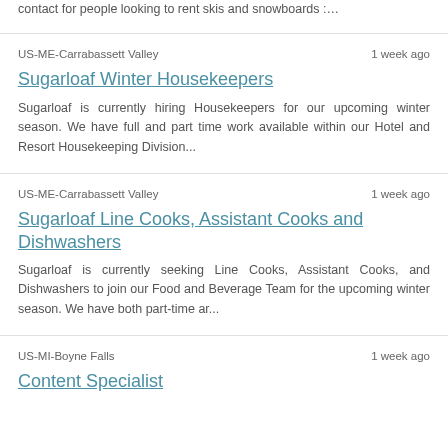contact for people looking to rent skis and snowboards :…
US-ME-Carrabassett Valley    1 week ago
Sugarloaf Winter Housekeepers
Sugarloaf is currently hiring Housekeepers for our upcoming winter season. We have full and part time work available within our Hotel and Resort Housekeeping Division...
US-ME-Carrabassett Valley    1 week ago
Sugarloaf Line Cooks, Assistant Cooks and Dishwashers
Sugarloaf is currently seeking Line Cooks, Assistant Cooks, and Dishwashers to join our Food and Beverage Team for the upcoming winter season. We have both part-time ar...
US-MI-Boyne Falls    1 week ago
Content Specialist